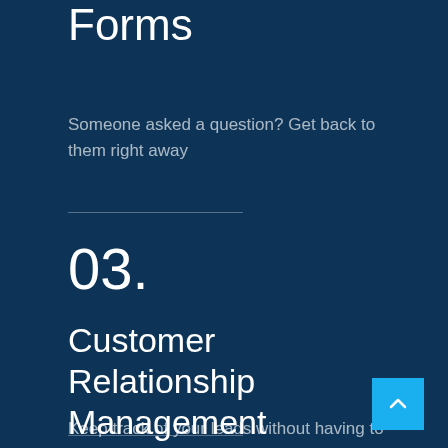Forms
Someone asked a question? Get back to them right away
03.
Customer Relationship Management
Keep track of your leads without having to pay for an external CRM